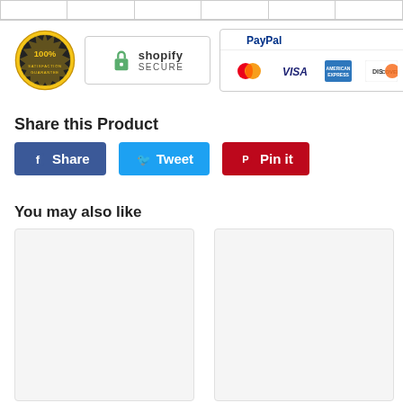|  |
[Figure (logo): Satisfaction 100% Guarantee badge, Shopify Secure badge, PayPal payment methods logo with MasterCard, VISA, American Express, Discover]
Share this Product
[Figure (infographic): Share buttons: Facebook Share (blue), Tweet (light blue), Pin it (red)]
You may also like
[Figure (photo): Two product card placeholders with light gray background]